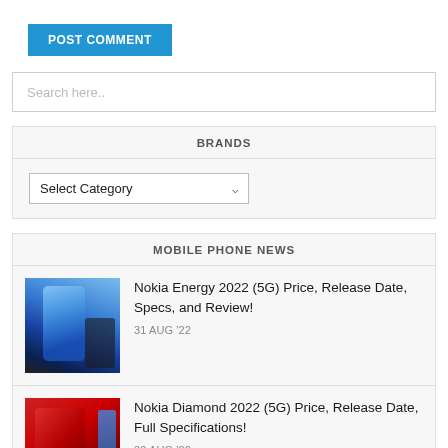POST COMMENT
Search here..
BRANDS
Select Category
MOBILE PHONE NEWS
[Figure (photo): Nokia Energy 2022 5G smartphone with blue gradient display next to a black box]
Nokia Energy 2022 (5G) Price, Release Date, Specs, and Review!
31 AUG '22
[Figure (photo): Nokia Diamond 2022 5G smartphone with red back panel]
Nokia Diamond 2022 (5G) Price, Release Date, Full Specifications!
30 AUG '22